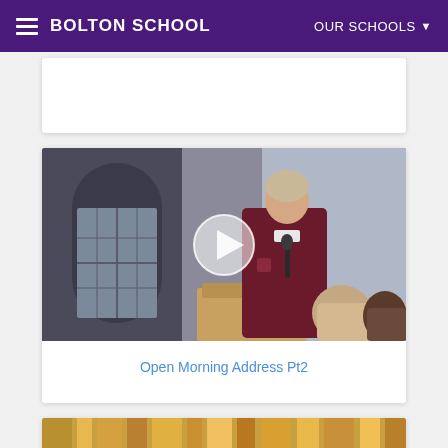BOLTON SCHOOL  OUR SCHOOLS
[Figure (photo): Video thumbnail showing a student in maroon school blazer speaking at a podium with a microphone, arched windows visible in background, with a semi-transparent circular play button overlay]
Open Morning Address Pt2